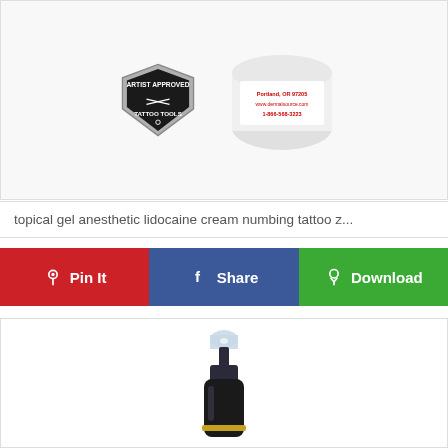[Figure (photo): Product photo showing Artist Approved Tattoo Tools badge logo on left and a white dermal cream container with text 'Portland, OR 97205', 'www.dermalsource.com', '1-866-568-3223' on right]
topical gel anesthetic lidocaine cream numbing tattoo z...
[Figure (infographic): Three action buttons in a row: red 'Pin It' button with Pinterest icon, blue 'Share' button with Facebook icon, and green 'Download' button with download icon]
[Figure (photo): Photo of a black spray bottle with gold ring near the base and a clear spray nozzle top, partially visible, product appears to be a tattoo numbing spray]